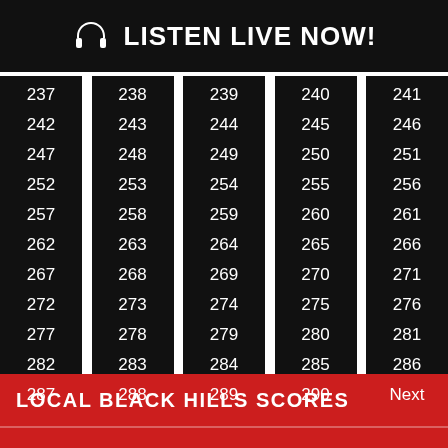LISTEN LIVE NOW!
| 237 | 238 | 239 | 240 | 241 |
| 242 | 243 | 244 | 245 | 246 |
| 247 | 248 | 249 | 250 | 251 |
| 252 | 253 | 254 | 255 | 256 |
| 257 | 258 | 259 | 260 | 261 |
| 262 | 263 | 264 | 265 | 266 |
| 267 | 268 | 269 | 270 | 271 |
| 272 | 273 | 274 | 275 | 276 |
| 277 | 278 | 279 | 280 | 281 |
| 282 | 283 | 284 | 285 | 286 |
| 287 | 288 | 289 | 290 | Next |
LOCAL BLACK HILLS SCORES